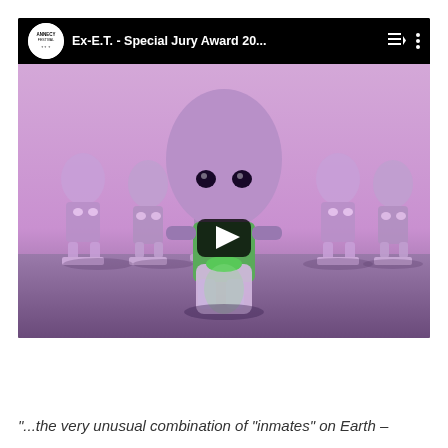[Figure (screenshot): YouTube video embed showing 'Ex-E.T. - Special Jury Award 20...' with Annecy Festival logo. The thumbnail shows an animated scene with purple alien characters in rows. A play button overlay is visible in the center.]
"...the very unusual combination of "inmates" on Earth –